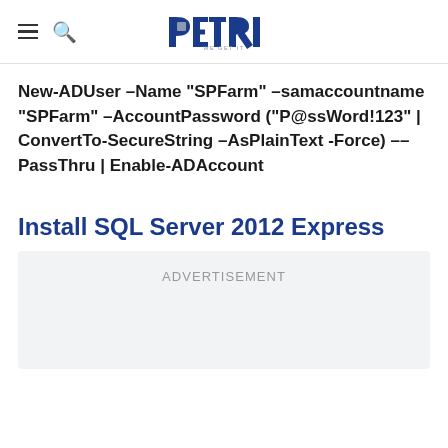PETRI WE GET IT
New-ADUser –Name “SPFarm” –samaccountname “SPFarm” –AccountPassword (“P@ssWord!123” | ConvertTo-SecureString –AsPlainText -Force) ––PassThru | Enable-ADAccount
Install SQL Server 2012 Express
[Figure (other): Advertisement placeholder box]